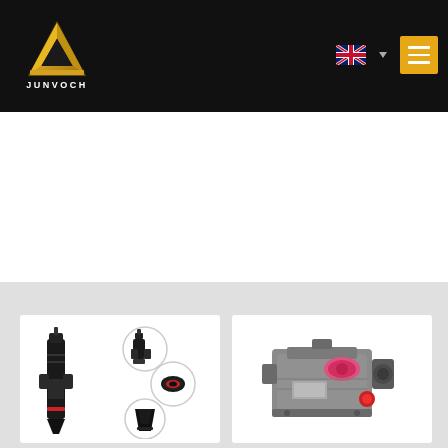[Figure (logo): JUNVOCH company logo with golden triangle/mountain symbol and text JUNVOCH below]
[Figure (screenshot): Navigation bar with flag icon (UK flag), dropdown arrow, and golden hamburger menu button on black background]
[Figure (photo): Fuel injector parts - large injector on left and three circular detail views of components on right, on white background]
[Figure (photo): Fuel injection pump - mechanical pump unit with pink/red colored components visible, on white background]